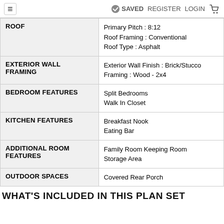≡   ✓ SAVED   REGISTER   LOGIN   🛒
| Feature | Details |
| --- | --- |
| ROOF | Primary Pitch : 8:12
Roof Framing : Conventional
Roof Type : Asphalt |
| EXTERIOR WALL FRAMING | Exterior Wall Finish : Brick/Stucco
Framing : Wood - 2x4 |
| BEDROOM FEATURES | Split Bedrooms
Walk In Closet |
| KITCHEN FEATURES | Breakfast Nook
Eating Bar |
| ADDITIONAL ROOM FEATURES | Family Room Keeping Room
Storage Area |
| OUTDOOR SPACES | Covered Rear Porch |
WHAT'S INCLUDED IN THIS PLAN SET